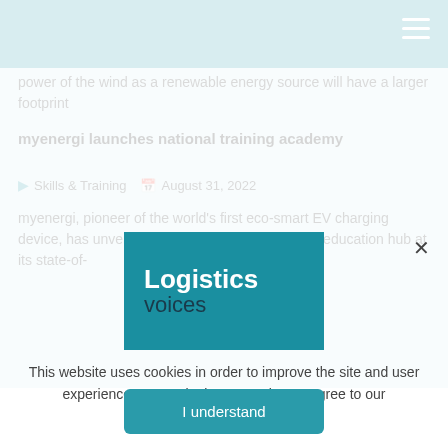power of the wind as a renewable energy source will have a larger footprint
myenergi launches national training academy
Skills & Training   August 31, 2022
myenergi, pioneer of the world's first eco-smart EV charging device, has unveiled plans to launch a dedicated education hub at its state-of-
[Figure (logo): Logistics Voices logo — white bold text 'Logistics' and dark teal text 'voices' on teal background]
This website uses cookies in order to improve the site and user experience. By continuing to use it, you agree to our Privacy Policy.
I understand